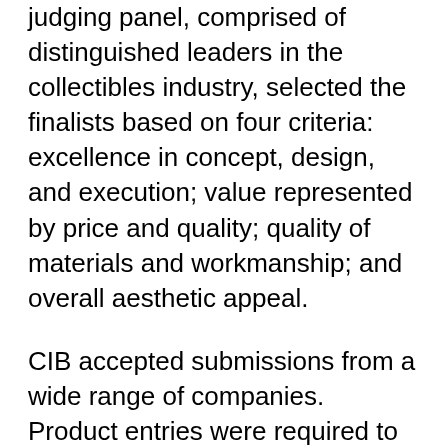judging panel, comprised of distinguished leaders in the collectibles industry, selected the finalists based on four criteria: excellence in concept, design, and execution; value represented by price and quality; quality of materials and workmanship; and overall aesthetic appeal.
CIB accepted submissions from a wide range of companies. Product entries were required to be new items for 2006.
Ballots for public voting are now available online at www.collectorsinfo.com and in the Spring edition of Collector Editions. The awards are scheduled to be presented at September's THE GATHERING show in Dallas. The winners will additionally be announced in the 2007 Holiday Guide issue of